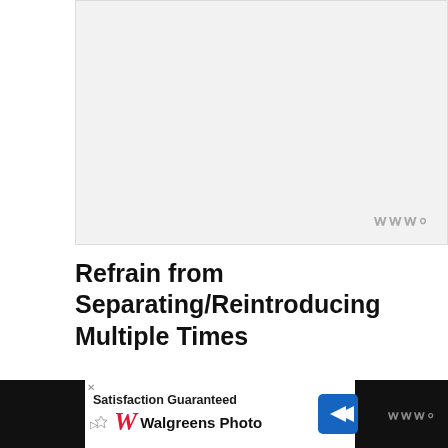[Figure (other): Advertisement placeholder area (light gray rectangle)]
Refrain from Separating/Reintroducing Multiple Times
Another thing to avoid is to separate the guinea pigs too often, especially when they have recently been introduced and are...
[Figure (other): Walgreens Photo advertisement banner at bottom: 'Satisfaction Guaranteed' with Walgreens logo and navigation arrow]